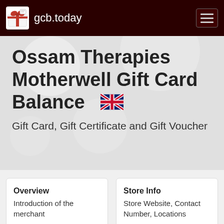gcb.today
Ossam Therapies Motherwell Gift Card Balance 🇬🇧
Gift Card, Gift Certificate and Gift Voucher
Overview
Introduction of the merchant
Overview »
Store Info
Store Website, Contact Number, Locations
Store Info »